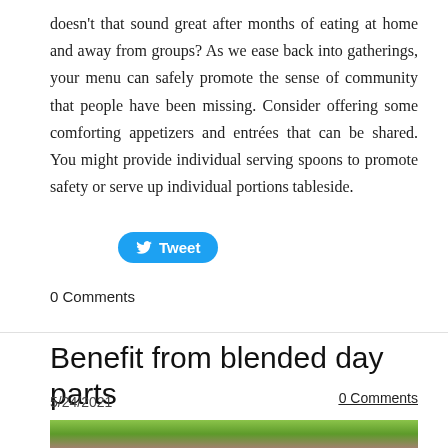doesn't that sound great after months of eating at home and away from groups? As we ease back into gatherings, your menu can safely promote the sense of community that people have been missing. Consider offering some comforting appetizers and entrées that can be shared. You might provide individual serving spoons to promote safety or serve up individual portions tableside.
[Figure (other): Blue Twitter Tweet button with bird icon]
0 Comments
Benefit from blended day parts
5/24/2021
0 Comments
[Figure (photo): Partial photo strip at bottom of page showing food/nature imagery]